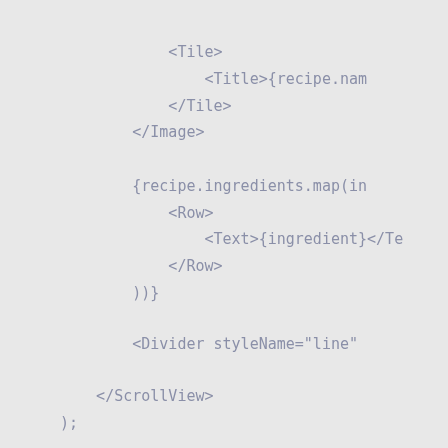<Tile>
    <Title>{recipe.nam
</Tile>
</Image>

{recipe.ingredients.map(in
    <Row>
        <Text>{ingredient}</Te
    </Row>
))}

<Divider styleName="line"

</ScrollView>
);
}